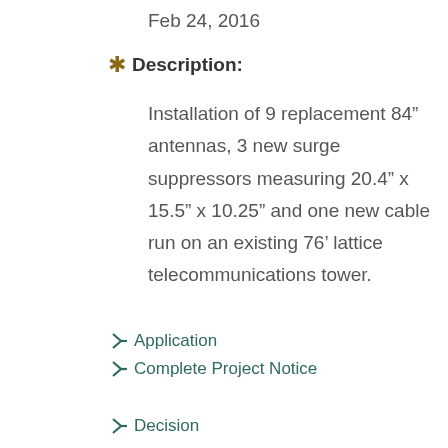Feb 24, 2016
* Description:
Installation of 9 replacement 84” antennas, 3 new surge suppressors measuring 20.4” x 15.5” x 10.25” and one new cable run on an existing 76’ lattice telecommunications tower.
Application
Complete Project Notice
Decision